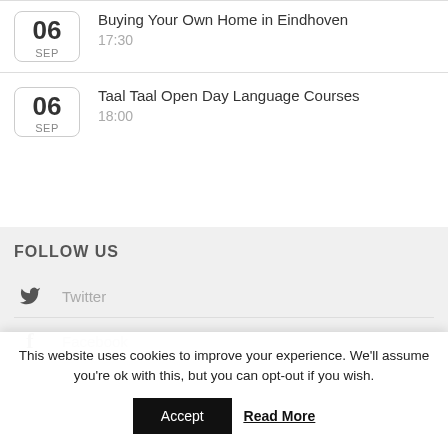06 SEP — Buying Your Own Home in Eindhoven, 17:30
06 SEP — Taal Taal Open Day Language Courses, 18:00
FOLLOW US
Twitter
Facebook
This website uses cookies to improve your experience. We'll assume you're ok with this, but you can opt-out if you wish.
Accept
Read More